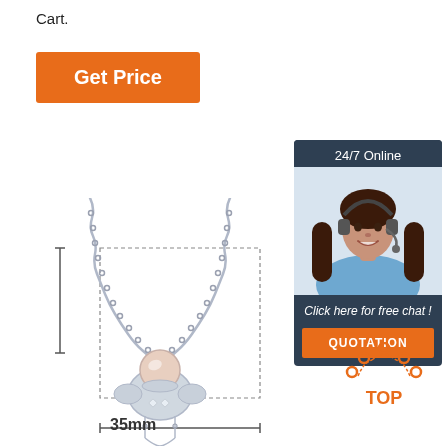Cart.
[Figure (other): Orange 'Get Price' button]
[Figure (other): Customer service sidebar widget with '24/7 Online' header, woman wearing headset photo, 'Click here for free chat!' text, and orange QUOTATION button]
[Figure (photo): Silver necklace with pearl astronaut pendant, shown with measurement annotation of 35mm width and dotted bounding box]
35mm
[Figure (other): Orange dotted 'TOP' badge/icon in bottom right corner]